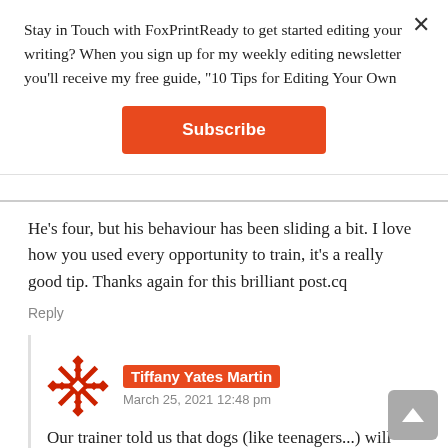Stay in Touch with FoxPrintReady to get started editing your writing? When you sign up for my weekly editing newsletter you'll receive my free guide, "10 Tips for Editing Your Own
Subscribe
He’s four, but his behaviour has been sliding a bit. I love how you used every opportunity to train, it’s a really good tip. Thanks again for this brilliant post.cq
Reply
Tiffany Yates Martin
March 25, 2021 12:48 pm
Our trainer told us that dogs (like teenagers...) will periodically test the